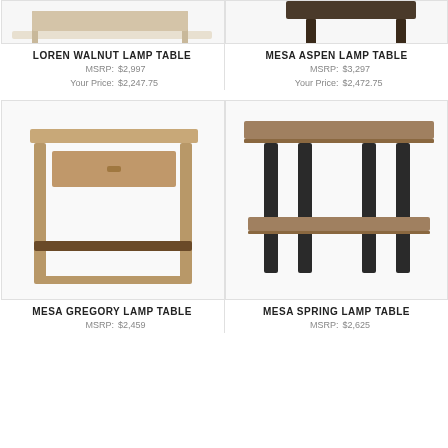[Figure (photo): Loren Walnut Lamp Table product photo (cropped, top portion visible)]
LOREN WALNUT LAMP TABLE
MSRP: $2,997
Your Price: $2,247.75
[Figure (photo): Mesa Aspen Lamp Table product photo (cropped, top portion visible)]
MESA ASPEN LAMP TABLE
MSRP: $3,297
Your Price: $2,472.75
[Figure (photo): Mesa Gregory Lamp Table - brown wood side table with one drawer and lower shelf]
MESA GREGORY LAMP TABLE
MSRP: $2,459
[Figure (photo): Mesa Spring Lamp Table - two-tier table with dark metal legs and wood top]
MESA SPRING LAMP TABLE
MSRP: $2,625